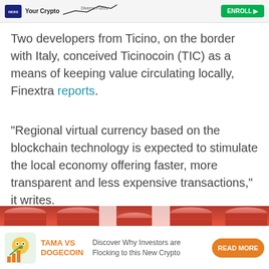[Figure (screenshot): Nexo advertisement banner showing logo, 'Your Crypto' text, a chart graphic, and a green 'ENROLL' button]
Two developers from Ticino, on the border with Italy, conceived Ticinocoin (TIC) as a means of keeping value circulating locally, Finextra reports.
“Regional virtual currency based on the blockchain technology is expected to stimulate the local economy offering faster, more transparent and less expensive transactions,” it writes.
[Figure (photo): Photo of stacks of shiny copper/red coins arranged in rows]
[Figure (infographic): Bottom advertisement for TAMA VS DOGECOIN with dog/chart icon, orange title, description text 'Discover Why Investors are Flocking to this New Crypto', and orange 'READ MORE' button]